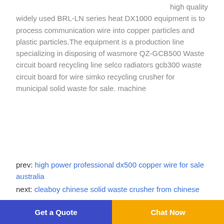high quality widely used BRL-LN series heat DX1000 equipment is to process communication wire into copper particles and plastic particles.The equipment is a production line specializing in disposing of wasmore QZ-GCB500 Waste circuit board recycling line selco radiators gcb300 waste circuit board for wire simko recycling crusher for municipal solid waste for sale. machine
prev: high power professional dx500 copper wire for sale australia
next: cleaboy chinese solid waste crusher from chinese
Get a Quote  Chat Now